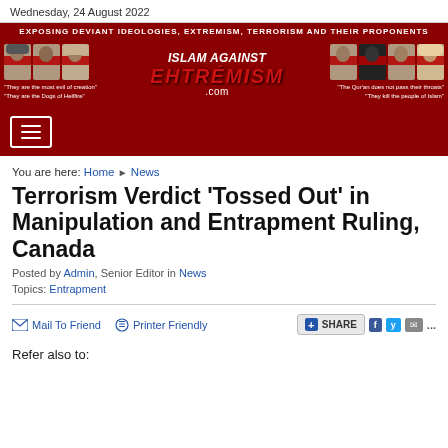Wednesday, 24 August 2022
[Figure (illustration): Islam Against Extremism website banner with red background. Top bar reads 'EXPOSING DEVIANT IDEOLOGIES, EXTREMISM, TERRORISM AND THEIR PROPONENTS'. Center logo says 'ISLAM AGAINST EXTREMISM .com'. Left text: 'They are the most evil of creation' / 'They are the Dogs of Hellfire'. Right text: 'The Qur’an does not pass their throats' / 'They kill the people of Islam'. Faces with red bars over eyes on both sides.]
[Figure (illustration): Navigation bar with hamburger menu button (three horizontal lines) on dark red background.]
You are here: Home ► News
Terrorism Verdict 'Tossed Out' in Manipulation and Entrapment Ruling, Canada
Posted by Admin, Senior Editor in News
Topics: Entrapment
Mail To Friend   Printer Friendly   SHARE
Refer also to: